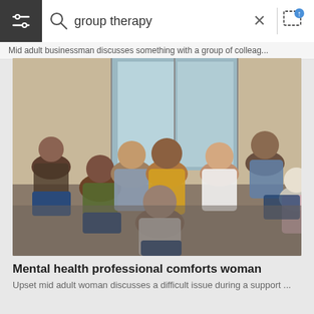group therapy
Mid adult businessman discusses something with a group of colleag...
[Figure (photo): Group therapy session showing diverse group of adults seated in a circle in a modern room with large windows. A woman in a yellow cardigan appears to be speaking while others listen.]
Mental health professional comforts woman
Upset mid adult woman discusses a difficult issue during a support ...